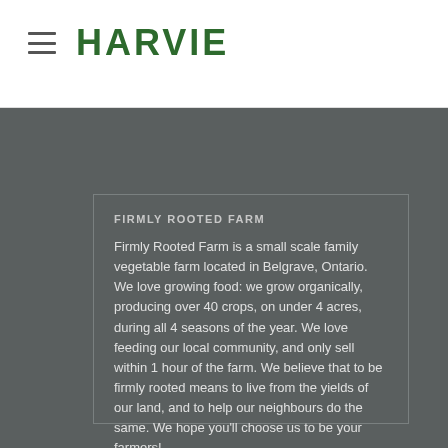HARVIE
FIRMLY ROOTED FARM
Firmly Rooted Farm is a small scale family vegetable farm located in Belgrave, Ontario. We love growing food: we grow organically, producing over 40 crops, on under 4 acres, during all 4 seasons of the year. We love feeding our local community, and only sell within 1 hour of the farm. We believe that to be firmly rooted means to live from the yields of our land, and to help our neighbours do the same. We hope you'll choose us to be your farmers!